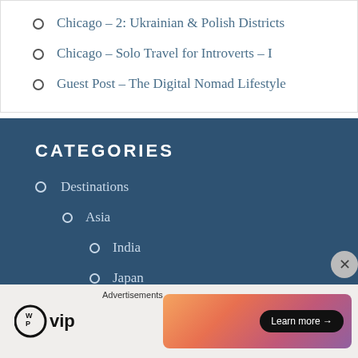Chicago – 2: Ukrainian & Polish Districts
Chicago – Solo Travel for Introverts – I
Guest Post – The Digital Nomad Lifestyle
CATEGORIES
Destinations
Asia
India
Japan
Europe
Advertisements
[Figure (logo): WordPress VIP logo with WP circle icon]